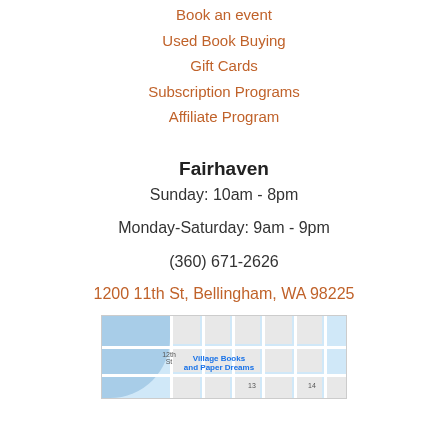Book an event
Used Book Buying
Gift Cards
Subscription Programs
Affiliate Program
Fairhaven
Sunday: 10am - 8pm
Monday-Saturday: 9am - 9pm
(360) 671-2626
1200 11th St, Bellingham, WA 98225
[Figure (map): Google Maps snippet showing Village Books and Paper Dreams location at 1200 11th St, Bellingham, WA 98225 with street grid visible]